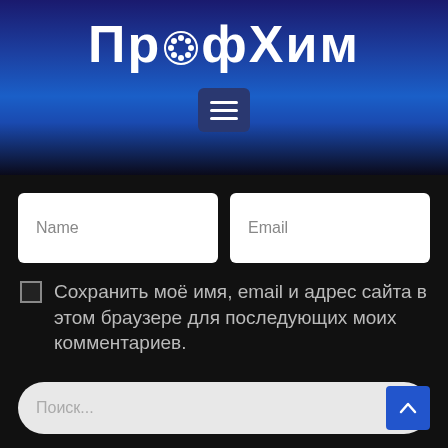ПрофХим
[Figure (infographic): Hamburger menu button with three horizontal lines on a dark blue rounded square background]
Name
Email
Сохранить моё имя, email и адрес сайта в этом браузере для последующих моих комментариев.
SUBMIT
Поиск...